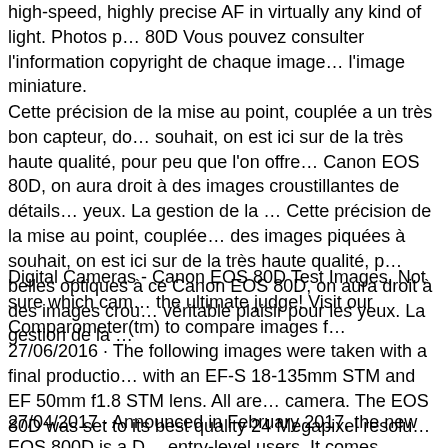high-speed, highly precise AF in virtually any kind of light. Photos p… 80D Vous pouvez consulter l'information copyright de chaque image… l'image miniature.
Cette précision de la mise au point, couplée a un très bon capteur, do… souhait, on est ici sur de la très haute qualité, pour peu que l'on offre… Canon EOS 80D, on aura droit à des images croustillantes de détails… yeux. La gestion de la … Cette précision de la mise au point, couplée… des images piquées à souhait, on est ici sur de la très haute qualité, p… belles optiques à ce Canon EOS 80D, on aura droit à des images crou… véritable plaisir pour les yeux. La gestion de la …
Digital Cameras - Canon EOS 80D Test Images. Not sure which cam… the ultimate judge! Visit our Comparometer(tm) to compare images f… 27/06/2016 · The following images were taken with a final productio… with an EF-S 18-135mm STM and EF 50mm f1.8 STM lens. All are… camera. The EOS 80D was set to its best quality 24 Megapixel resolu…
27/04/2017 · Announced in February 2017, the new EOS 800D is a D… entry-level users. It comes equipped with the latest image processor…